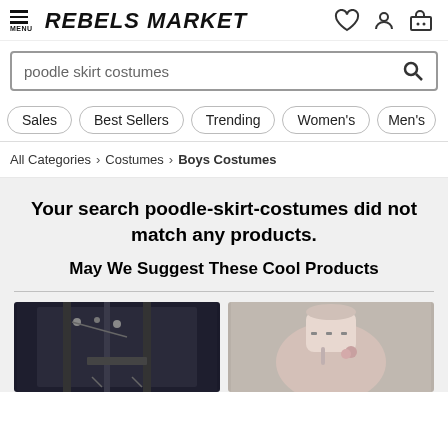REBELS MARKET
poodle skirt costumes
Sales | Best Sellers | Trending | Women's | Men's
All Categories > Costumes > Boys Costumes
Your search poodle-skirt-costumes did not match any products.
May We Suggest These Cool Products
[Figure (photo): Two product images: left shows a dark plaid skirt with chains/studs, right shows a hand holding a nail polish or accessory item.]